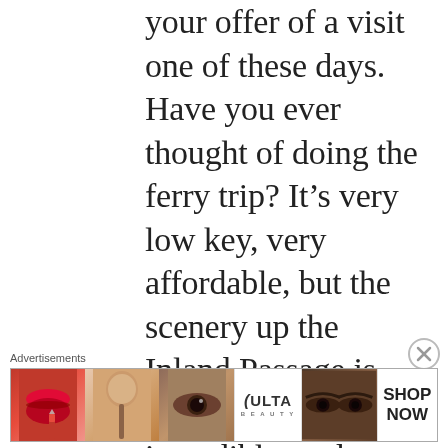your offer of a visit one of these days. Have you ever thought of doing the ferry trip? It's very low key, very affordable, but the scenery up the Inland Passage is supposed to be incredible, and you get closer than you would on a regular cruise. I don't know if it's still possible, but people used to sleep
[Figure (other): Close (X) dismiss button for advertisement overlay]
Advertisements
[Figure (illustration): ULTA Beauty advertisement banner showing cosmetic imagery — lips with lipstick, makeup brush, eye with eyeshadow, ULTA logo, dramatic eye makeup, and SHOP NOW call to action]